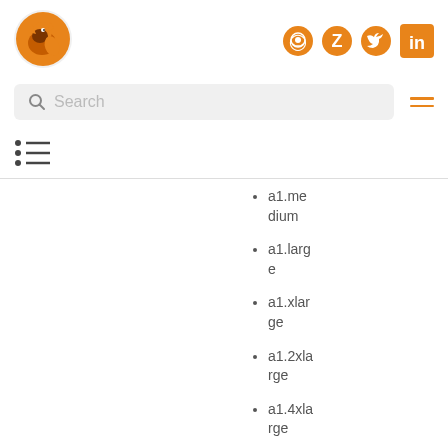[Figure (logo): Orange fox/wolf logo icon]
[Figure (infographic): Social icons: GitHub, Z (Zotero), Twitter, LinkedIn in orange]
[Figure (screenshot): Search bar with magnifying glass icon and placeholder text 'Search']
[Figure (infographic): Hamburger menu icon with two orange lines]
[Figure (infographic): Table of contents icon]
a1.medium
a1.large
a1.xlarge
a1.2xlarge
a1.4xlarge